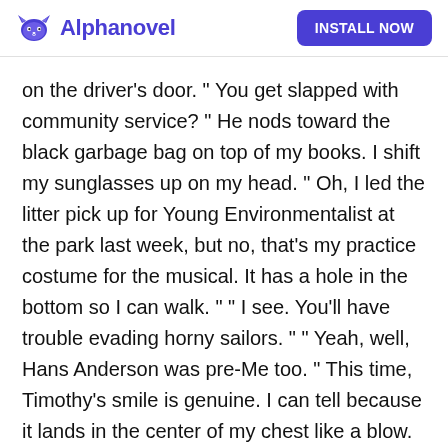Alphanovel | INSTALL NOW
on the driver's door. " You get slapped with community service? " He nods toward the black garbage bag on top of my books. I shift my sunglasses up on my head. " Oh, I led the litter pick up for Young Environmentalist at the park last week, but no, that's my practice costume for the musical. It has a hole in the bottom so I can walk. " " I see. You'll have trouble evading horny sailors. " " Yeah, well, Hans Anderson was pre-Me too. " This time, Timothy's smile is genuine. I can tell because it lands in the center of my chest like a blow.
I wish I could lick my suddenly dry lips without him taking credit for it. He reaches into the car, and my breath hitches as he lifts his tie from around my